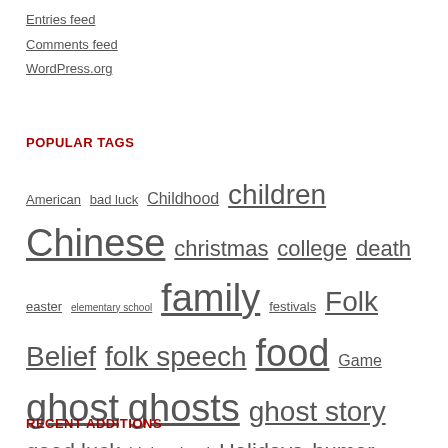Entries feed
Comments feed
WordPress.org
POPULAR TAGS
American bad luck Childhood children Chinese christmas college death easter elementary school family festivals Folk Belief folk speech food Game ghost ghosts ghost story good luck high school Holidays humor indian jewish Joke Korean legend luck magic Mexican Mexico new years Protection proverb Religion Rituals saying song Sports Superstition tradition urban legend USC wedding
RECENT ADDITIONS